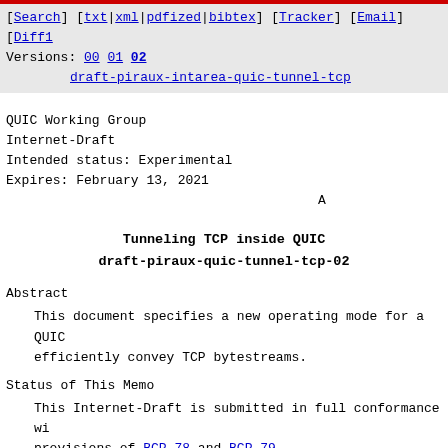[Search] [txt|xml|pdfized|bibtex] [Tracker] [Email] [Diff1
Versions: 00 01 02
         draft-piraux-intarea-quic-tunnel-tcp
QUIC Working Group
Internet-Draft
Intended status: Experimental
Expires: February 13, 2021
Tunneling TCP inside QUIC
draft-piraux-quic-tunnel-tcp-02
Abstract
This document specifies a new operating mode for a QUIC efficiently convey TCP bytestreams.
Status of This Memo
This Internet-Draft is submitted in full conformance wi provisions of BCP 78 and BCP 79.
Internet-Drafts are working documents of the Internet E Task Force (IETF).  Note that other groups may also dis working documents as Internet-Drafts.  The list of curr Drafts is at https://datatracker.ietf.org/drafts/curren
Internet-Drafts are draft documents valid for a maximum